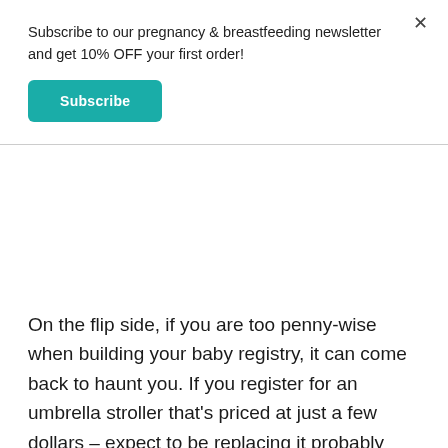Subscribe to our pregnancy & breastfeeding newsletter and get 10% OFF your first order!
Subscribe
On the flip side, if you are too penny-wise when building your baby registry, it can come back to haunt you. If you register for an umbrella stroller that's priced at just a few dollars – expect to be replacing it probably more than once, and also expect to be frustrated when you can't open it, or when the wheels won't turn or when a wheel pops off. Trust us when we say that sometimes a “value” price tag isn't worth the frustration nor is it worth a